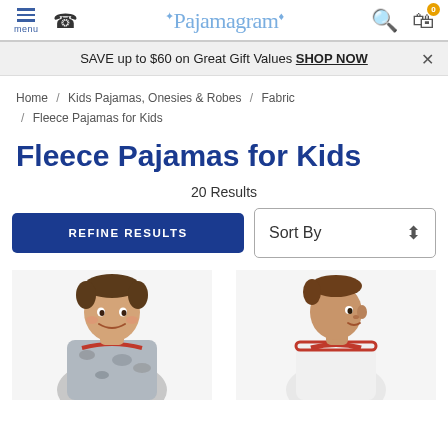Pajamagram — menu, phone, search, cart (0)
SAVE up to $60 on Great Gift Values SHOP NOW
Home / Kids Pajamas, Onesies & Robes / Fabric / Fleece Pajamas for Kids
Fleece Pajamas for Kids
20 Results
REFINE RESULTS
Sort By
[Figure (photo): Two boys modeling fleece pajamas, partially cropped at bottom of page]